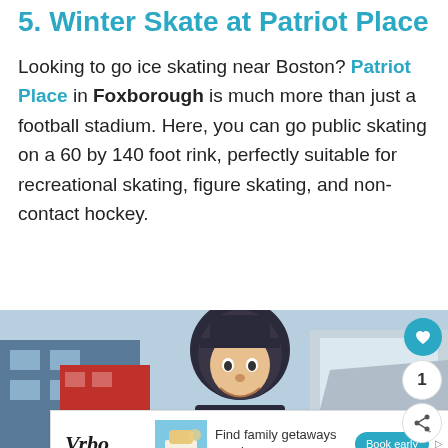5. Winter Skate at Patriot Place
Looking to go ice skating near Boston? Patriot Place in Foxborough is much more than just a football stadium. Here, you can go public skating on a 60 by 140 foot rink, perfectly suitable for recreational skating, figure skating, and non-contact hockey.
[Figure (photo): Photo of Patriot Place exterior with a large Patriots mascot statue/figure in the foreground, stadium visible in background, blue sky]
[Figure (infographic): Vrbo advertisement banner: 'Find family getaways nearby' with Book early button, Vrbo logo on left, vacation imagery in middle]